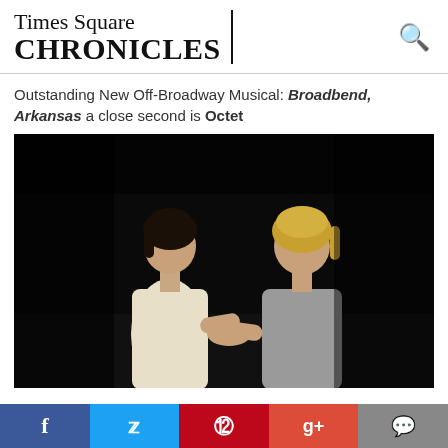Times Square CHRONICLES
Outstanding New Off-Broadway Musical: Broadbend, Arkansas a close second is Octet
[Figure (photo): Two women on a dark stage holding hands and facing each other — one younger woman in a cream dress with dark hair, one older woman in a grey blazer with blonde hair]
Social sharing bar: Facebook, Twitter, Pinterest, Google+, Comments